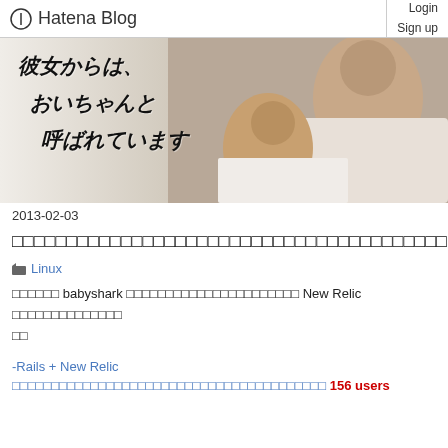Hatena Blog  Login  Sign up
[Figure (photo): Blog header image with Japanese handwritten text '彼女からは、おいちゃんと呼ばれています' and a couple in bed in the background]
2013-02-03
□□□□□□□□□□□□□□□□□□□□□□□□□□□□□□□□□□□□□□□□
□ Linux
□□□□□□ babyshark □□□□□□□□□□□□□□□□□□□□□□ New Relic □□□□□□□□□□□□□□
-Rails + New Relic □□□□□□□□□□□□□□□□□□□□□□□□□□□□□□□□□□□□□□□□ 156 users